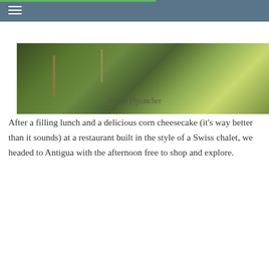[Figure (photo): Close-up nature photo of branches and leaves, likely showing a bird habitat or plant detail, in green and brown tones — Tufted Flycatcher context]
Tufted Flycatcher
After a filling lunch and a delicious corn cheesecake (it’s way better than it sounds) at a restaurant built in the style of a Swiss chalet, we headed to Antigua with the afternoon free to shop and explore.
[Figure (photo): Interior photo of a rustic Swiss chalet-style restaurant with wooden beams and decorations, with people visible in the foreground]